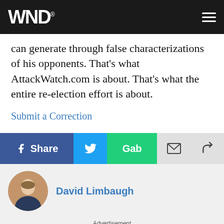WND
can generate through false characterizations of his opponents. That's what AttackWatch.com is about. That's what the entire re-election effort is about.
Submit a Correction
[Figure (infographic): Social share bar with Facebook Share, Twitter, Gab, email, and forward buttons]
David Limbaugh
Advertisement
7 Interesting Facts About GoT Star Maisie Williams